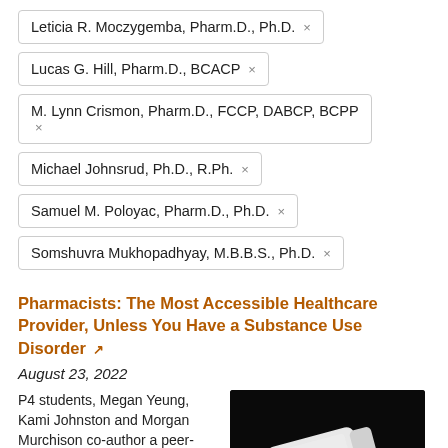Leticia R. Moczygemba, Pharm.D., Ph.D. ×
Lucas G. Hill, Pharm.D., BCACP ×
M. Lynn Crismon, Pharm.D., FCCP, DABCP, BCPP ×
Michael Johnsrud, Ph.D., R.Ph. ×
Samuel M. Poloyac, Pharm.D., Ph.D. ×
Somshuvra Mukhopadhyay, M.B.B.S., Ph.D. ×
Pharmacists: The Most Accessible Healthcare Provider, Unless You Have a Substance Use Disorder
August 23, 2022
P4 students, Megan Yeung, Kami Johnston and Morgan Murchison co-author a peer-reviewed blog in
[Figure (photo): A white pill bottle lying on its side with white pills/tablets spilled out on a dark background]